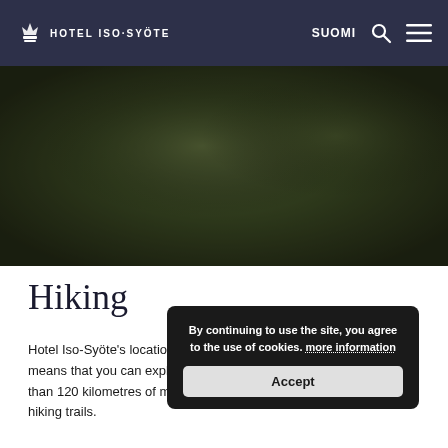HOTEL ISO-SYÖTE  SUOMI
[Figure (photo): Dark blurred outdoor/forest scene with deep green and dark tones, hero banner image]
Hiking
Hotel Iso-Syöte's location at the Iso-Syöte National Park means that you can explore more than 120 kilometres of marked hiking trails.